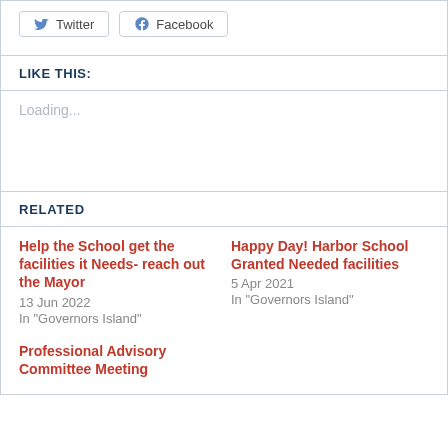Twitter  Facebook
LIKE THIS:
Loading...
RELATED
Help the School get the facilities it Needs- reach out the Mayor
13 Jun 2022
In "Governors Island"
Happy Day! Harbor School Granted Needed facilities
5 Apr 2021
In "Governors Island"
Professional Advisory Committee Meeting